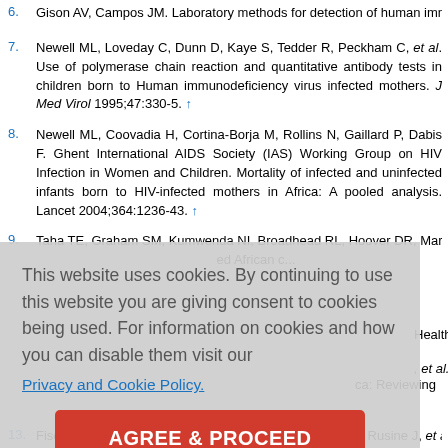6. Gison AV, Campos JM. Laboratory methods for detection of human immunodeficiency virus in newborns and infants. Clin Microbiol Rev 1992;5:238-47. ↑
7. Newell ML, Loveday C, Dunn D, Kaye S, Tedder R, Peckham C, et al. Use of polymerase chain reaction and quantitative antibody tests in children born to Human immunodeficiency virus infected mothers. J Med Virol 1995;47:330-5. ↑
8. Newell ML, Coovadia H, Cortina-Borja M, Rollins N, Gaillard P, Dabis F. Ghent International AIDS Society (IAS) Working Group on HIV Infection in Women and Children. Mortality of infected and uninfected infants born to HIV-infected mothers in Africa: A pooled analysis. Lancet 2004;364:1236-43. ↑
9. Taha TE, Graham SM, Kumwenda NI, Broadhead RL, Hoover DR, Markakis... African c... Health Orga...
This website uses cookies. By continuing to use this website you are giving consent to cookies being used. For information on cookies and how you can disable them visit our
Privacy and Cookie Policy.
AGREE & PROCEED
13. Fischer A, Lejczak C, Lambert C, Servais J, Makombe N, Rusine J, et al. Sim...